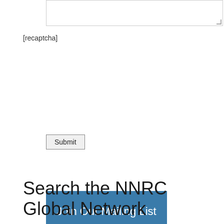[Figure (screenshot): A textarea input box with resize handle in the bottom-right corner]
[recaptcha]
[Figure (screenshot): A Submit button with border and light gray background]
[Figure (screenshot): A blue button labeled 'Join Our Mailing List']
Search the NNRC Global Network